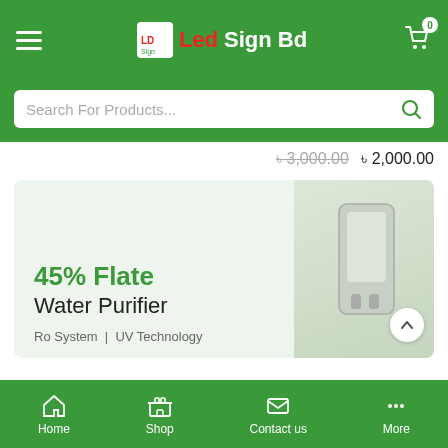Led Sign Bd
Search For Products...
৳ 3,000.00  ৳ 2,000.00
[Figure (screenshot): Water purifier promotional banner with text '45% Flate Water Purifier Ro System | UV Technology' on a light green background with a product image on the right]
Home  Shop  Contact us  More